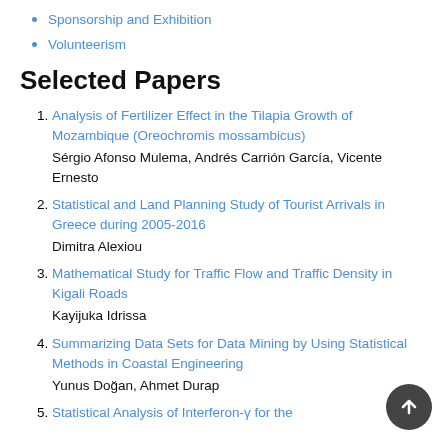Sponsorship and Exhibition
Volunteerism
Selected Papers
1. Analysis of Fertilizer Effect in the Tilapia Growth of Mozambique (Oreochromis mossambicus)
Sérgio Afonso Mulema, Andrés Carrión García, Vicente Ernesto
2. Statistical and Land Planning Study of Tourist Arrivals in Greece during 2005-2016
Dimitra Alexiou
3. Mathematical Study for Traffic Flow and Traffic Density in Kigali Roads
Kayijuka Idrissa
4. Summarizing Data Sets for Data Mining by Using Statistical Methods in Coastal Engineering
Yunus Doğan, Ahmet Durap
5. Statistical Analysis of Interferon-γ for the